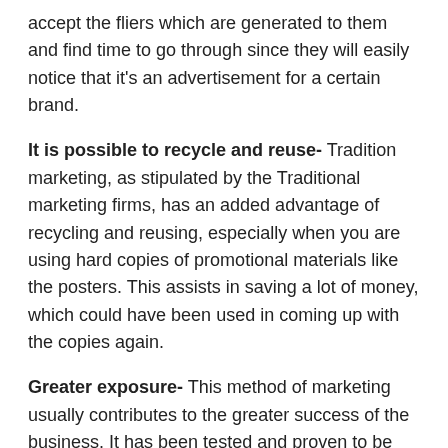accept the fliers which are generated to them and find time to go through since they will easily notice that it's an advertisement for a certain brand.
It is possible to recycle and reuse- Tradition marketing, as stipulated by the Traditional marketing firms, has an added advantage of recycling and reusing, especially when you are using hard copies of promotional materials like the posters. This assists in saving a lot of money, which could have been used in coming up with the copies again.
Greater exposure- This method of marketing usually contributes to the greater success of the business. It has been tested and proven to be great since, unlike the online method, it guarantees the message reaching the target audience, unlike the online method of marketing.
Like any other thing, traditional marketing does not